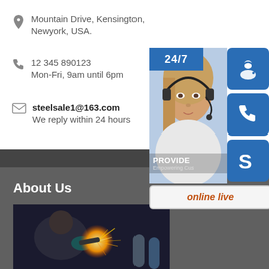Mountain Drive, Kensington, Newyork, USA.
12 345 890123
Mon-Fri, 9am until 6pm
steelsale1@163.com
We reply within 24 hours
[Figure (illustration): Customer service widget overlay showing a blonde woman with headset, 24/7 badge, headset icon, phone icon, Skype icon, and 'online live' button]
About Us
[Figure (photo): Welder working with sparks flying, industrial welding scene]